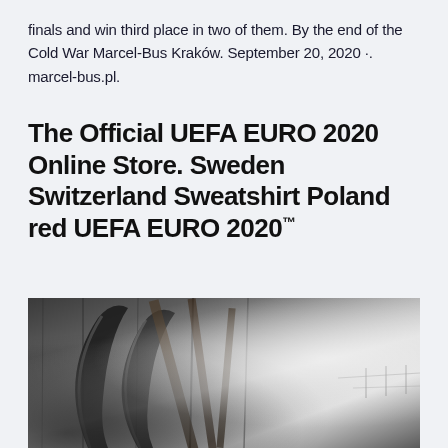finals and win third place in two of them. By the end of the Cold War Marcel-Bus Kraków. September 20, 2020 ·. marcel-bus.pl.
The Official UEFA EURO 2020 Online Store. Sweden Switzerland Sweatshirt Poland red UEFA EURO 2020™
[Figure (photo): Black and white photograph showing a rustic wooden structure with curved metal pieces (possibly old wagon wheel or farm equipment parts) leaning against wooden planks. The image has high contrast with bright highlights in the upper right.]